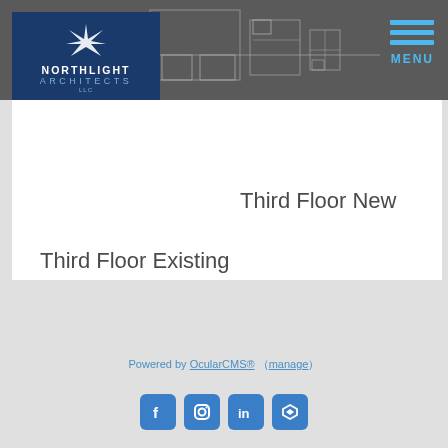[Figure (logo): Northlight Architects LLC logo — dark blue background with white star/compass icon, 'NORTHLIGHT' in white bold, 'ARCHITECTS' in light blue, 'LLC' in light blue]
[Figure (schematic): Architectural floor plan drawing lines visible in header background — partial floor plan with room outlines]
MENU
Third Floor New
Third Floor Existing
Powered by OcularCMS® ( manage )
[Figure (illustration): Social media icons row: Facebook, Instagram, LinkedIn, and a fourth icon (Clipchamp/other) — all in blue rounded square style]